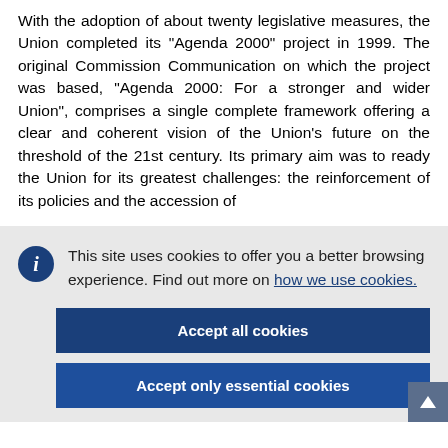With the adoption of about twenty legislative measures, the Union completed its "Agenda 2000" project in 1999. The original Commission Communication on which the project was based, "Agenda 2000: For a stronger and wider Union", comprises a single complete framework offering a clear and coherent vision of the Union's future on the threshold of the 21st century. Its primary aim was to ready the Union for its greatest challenges: the reinforcement of its policies and the accession of
This site uses cookies to offer you a better browsing experience. Find out more on how we use cookies.
Accept all cookies
Accept only essential cookies